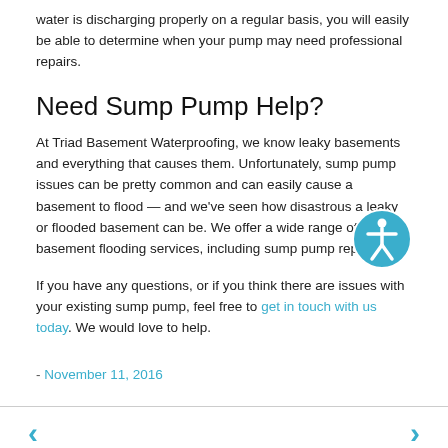water is discharging properly on a regular basis, you will easily be able to determine when your pump may need professional repairs.
Need Sump Pump Help?
At Triad Basement Waterproofing, we know leaky basements and everything that causes them. Unfortunately, sump pump issues can be pretty common and can easily cause a basement to flood — and we've seen how disastrous a leaky or flooded basement can be. We offer a wide range of basement flooding services, including sump pump repairs.
If you have any questions, or if you think there are issues with your existing sump pump, feel free to get in touch with us today. We would love to help.
- November 11, 2016